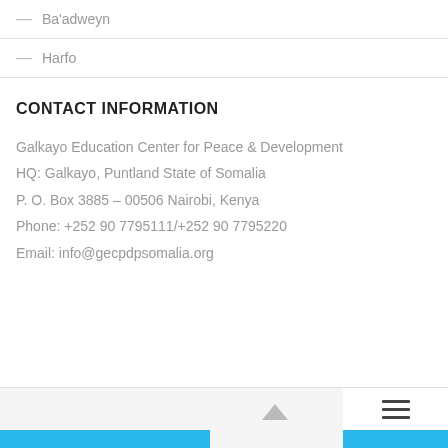— Ba'adweyn
— Harfo
CONTACT INFORMATION
Galkayo Education Center for Peace & Development
HQ: Galkayo, Puntland State of Somalia
P. O. Box 3885 – 00506 Nairobi, Kenya
Phone: +252 90 7795111/+252 90 7795220
Email: info@gecpdpsomalia.org